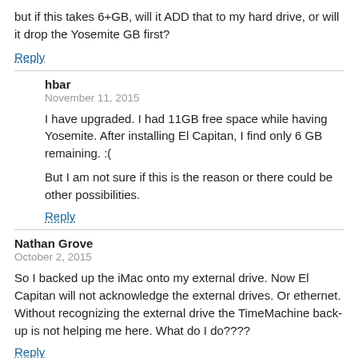but if this takes 6+GB, will it ADD that to my hard drive, or will it drop the Yosemite GB first?
Reply
hbar
November 11, 2015
I have upgraded. I had 11GB free space while having Yosemite. After installing El Capitan, I find only 6 GB remaining. :(
But I am not sure if this is the reason or there could be other possibilities.
Reply
Nathan Grove
October 2, 2015
So I backed up the iMac onto my external drive. Now El Capitan will not acknowledge the external drives. Or ethernet. Without recognizing the external drive the TimeMachine back-up is not helping me here. What do I do????
Reply